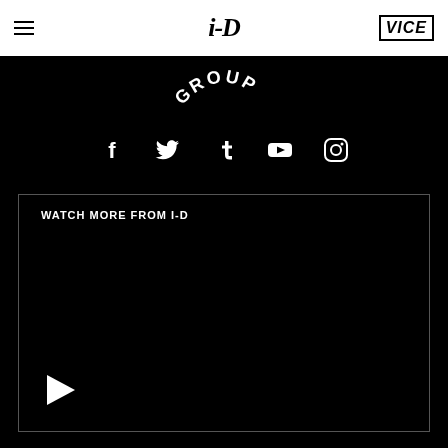i-D | VICE
[Figure (logo): Partial arc text reading 'GROUP' in graffiti style on black background]
[Figure (infographic): Social media icons row: Facebook, Twitter, Tumblr, YouTube, Instagram]
[Figure (screenshot): Video player area with label 'WATCH MORE FROM I-D' and play button at bottom left, black background with white border]